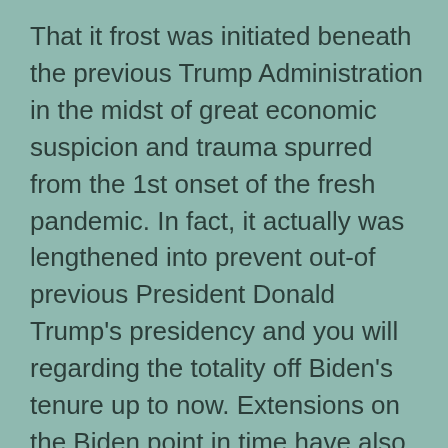That it frost was initiated beneath the previous Trump Administration in the midst of great economic suspicion and trauma spurred from the 1st onset of the fresh pandemic. In fact, it actually was lengthened into prevent out-of previous President Donald Trump's presidency and you will regarding the totality off Biden's tenure up to now. Extensions on the Biden point in time have also supplemented from the targeted personal debt forgiveness for those who are handicapped, specific societal servants, small business owners just who desired help underneath the Salary Shelter